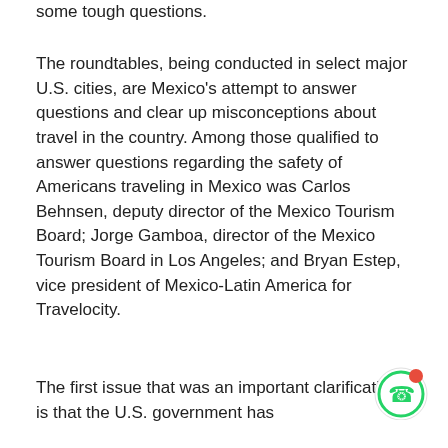some tough questions.
The roundtables, being conducted in select major U.S. cities, are Mexico's attempt to answer questions and clear up misconceptions about travel in the country. Among those qualified to answer questions regarding the safety of Americans traveling in Mexico was Carlos Behnsen, deputy director of the Mexico Tourism Board; Jorge Gamboa, director of the Mexico Tourism Board in Los Angeles; and Bryan Estep, vice president of Mexico-Latin America for Travelocity.
The first issue that was an important clarification is that the U.S. government has